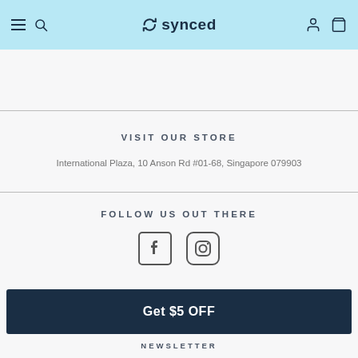synced
VISIT OUR STORE
International Plaza, 10 Anson Rd #01-68, Singapore 079903
FOLLOW US OUT THERE
[Figure (other): Facebook and Instagram social media icons]
Get $5 OFF
NEWSLETTER